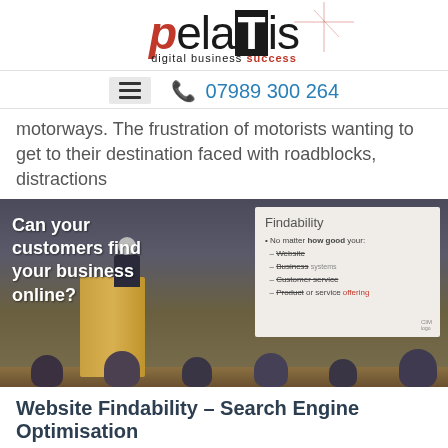[Figure (logo): pelaTis logo with tagline 'digital business success', red crosshair graphic in upper right]
☰  07989 300 264
motorways. The frustration of motorists wanting to get to their destination faced with roadblocks, distractions
[Figure (photo): Presenter at podium speaking at a conference, projection screen showing 'Can your customers find your business online?' and slide titled 'Findability' with bullet points about Website, Business systems, Customer service, Product or service offering]
Website Findability – Search Engine Optimisation